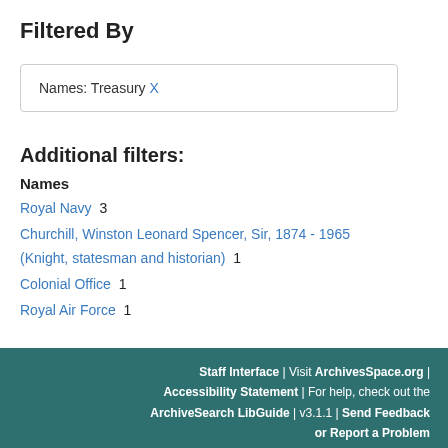Filtered By
Names: Treasury X
Additional filters:
Names
Royal Navy  3
Churchill, Winston Leonard Spencer, Sir, 1874 - 1965 (Knight, statesman and historian)  1
Colonial Office  1
Royal Air Force  1
Staff Interface | Visit ArchivesSpace.org | Accessibility Statement | For help, check out the ArchiveSearch LibGuide | v3.1.1 | Send Feedback or Report a Problem